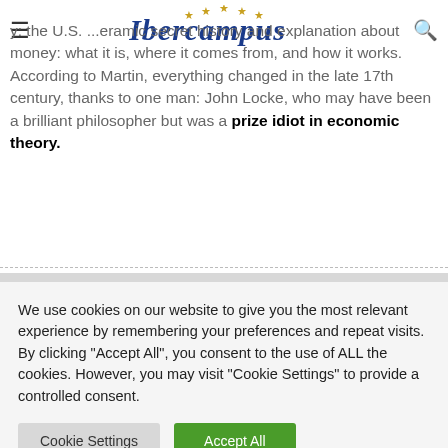Ibercampus
y: the U.S. ...eramic secret history and explanation about money: what it is, where it comes from, and how it works. According to Martin, everything changed in the late 17th century, thanks to one man: John Locke, who may have been a brilliant philosopher but was a prize idiot in economic theory.
We use cookies on our website to give you the most relevant experience by remembering your preferences and repeat visits. By clicking "Accept All", you consent to the use of ALL the cookies. However, you may visit "Cookie Settings" to provide a controlled consent.